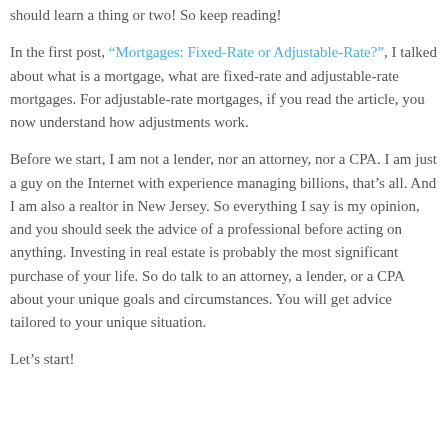should learn a thing or two! So keep reading!
In the first post, "Mortgages: Fixed-Rate or Adjustable-Rate?", I talked about what is a mortgage, what are fixed-rate and adjustable-rate mortgages. For adjustable-rate mortgages, if you read the article, you now understand how adjustments work.
Before we start, I am not a lender, nor an attorney, nor a CPA. I am just a guy on the Internet with experience managing billions, that’s all. And I am also a realtor in New Jersey. So everything I say is my opinion, and you should seek the advice of a professional before acting on anything. Investing in real estate is probably the most significant purchase of your life. So do talk to an attorney, a lender, or a CPA about your unique goals and circumstances. You will get advice tailored to your unique situation.
Let’s start!